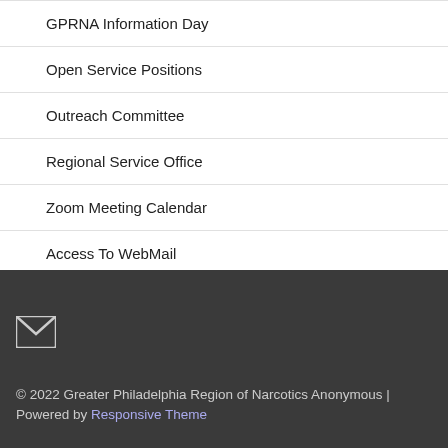GPRNA Information Day
Open Service Positions
Outreach Committee
Regional Service Office
Zoom Meeting Calendar
Access To WebMail
© 2022 Greater Philadelphia Region of Narcotics Anonymous | Powered by Responsive Theme